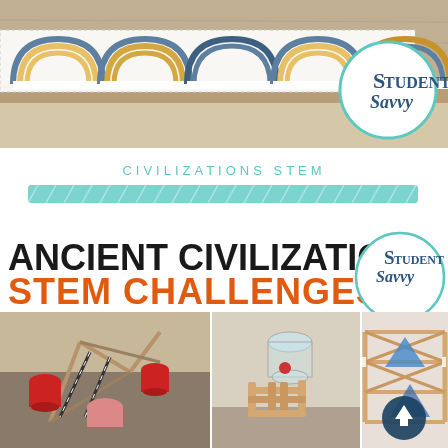[Figure (photo): Classroom bulletin board border with rainbow designs on a wood-look shelf, with Student Savvy logo badge in the top right corner]
CIVILIZATIONS STEM
[Figure (illustration): Teal/turquoise hand-drawn style highlight bar]
[Figure (photo): Ancient Civilizations STEM Challenges product cover showing black bold title text, orange 'STEM CHALLENGES' subtitle, Student Savvy logo, and three photos of student-built popsicle stick and straw structures]